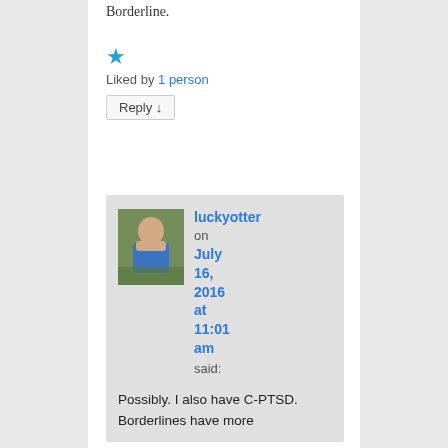Borderline.
Liked by 1 person
Reply ↓
luckyotter on July 16, 2016 at 11:01 am said:
Possibly. I also have C-PTSD. Borderlines have more